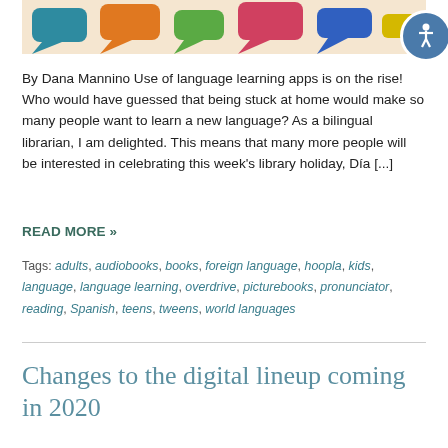[Figure (illustration): Colorful speech bubbles illustration at top of page with an accessibility icon (person in circle) in the upper right corner]
By Dana Mannino Use of language learning apps is on the rise! Who would have guessed that being stuck at home would make so many people want to learn a new language? As a bilingual librarian, I am delighted. This means that many more people will be interested in celebrating this week's library holiday, Día [...]
READ MORE »
Tags: adults, audiobooks, books, foreign language, hoopla, kids, language, language learning, overdrive, picturebooks, pronunciator, reading, Spanish, teens, tweens, world languages
Changes to the digital lineup coming in 2020